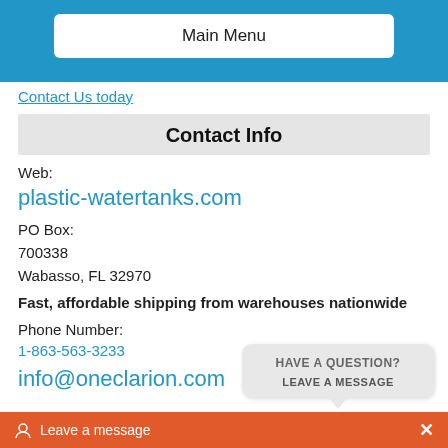Main Menu
Contact Us today
Contact Info
Web:
plastic-watertanks.com
PO Box:
700338
Wabasso, FL 32970
Fast, affordable shipping from warehouses nationwide
Phone Number:
1-863-563-3233
info@oneclarion.com
[Figure (other): Chat bubble widget: HAVE A QUESTION? LEAVE A MESSAGE]
Leave a message